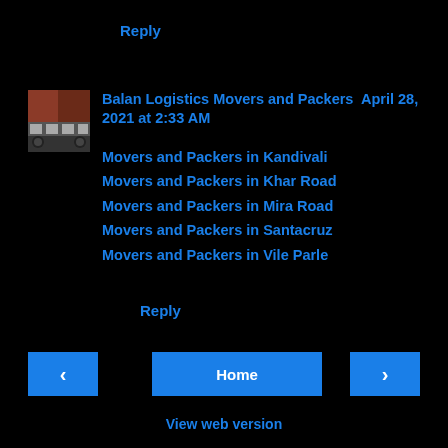Reply
Balan Logistics Movers and Packers  April 28, 2021 at 2:33 AM
Movers and Packers in Kandivali
Movers and Packers in Khar Road
Movers and Packers in Mira Road
Movers and Packers in Santacruz
Movers and Packers in Vile Parle
Reply
‹   Home   ›  View web version